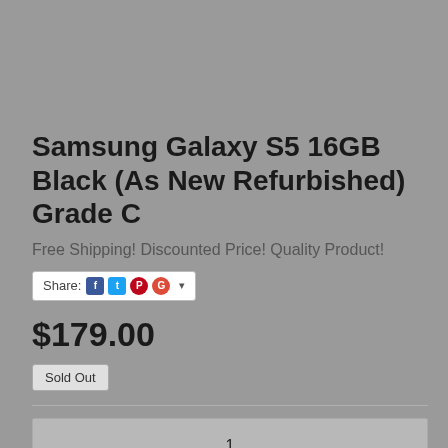Samsung Galaxy S5 16GB Black (As New Refurbished) Grade C
Free Shipping! Discounted Price! Quality Product!
Share:
$179.00
Sold Out
1
✉ Notify Me